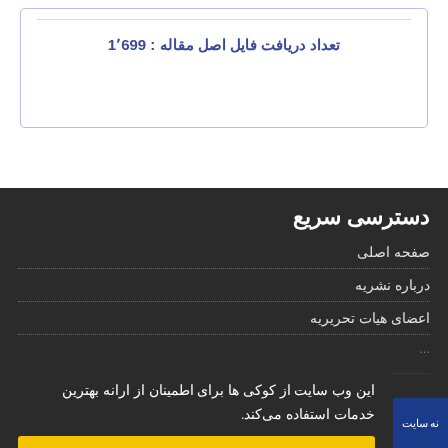تعداد دریافت فایل اصل مقاله: 1699
دسترسی سریع
صفحه اصلی
درباره نشریه
اعضای هیات تحریریه
این وب سایت از کوکی ها برای اطمینان از ارانه بهترین خدمات استفاده می‌کند.
متوجه شدم
نه سایت